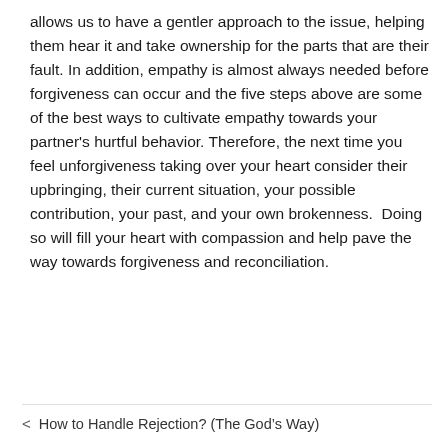allows us to have a gentler approach to the issue, helping them hear it and take ownership for the parts that are their fault. In addition, empathy is almost always needed before forgiveness can occur and the five steps above are some of the best ways to cultivate empathy towards your partner's hurtful behavior. Therefore, the next time you feel unforgiveness taking over your heart consider their upbringing, their current situation, your possible contribution, your past, and your own brokenness.  Doing so will fill your heart with compassion and help pave the way towards forgiveness and reconciliation.
< How to Handle Rejection? (The God's Way)